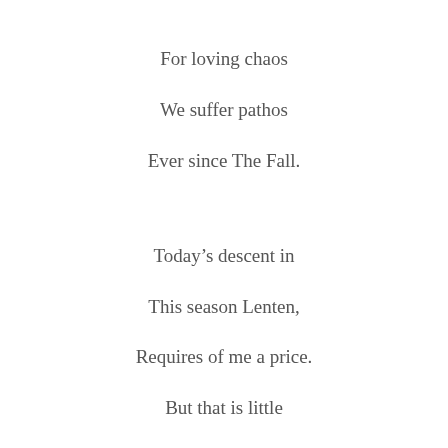For loving chaos
We suffer pathos
Ever since The Fall.
Today's descent in
This season Lenten,
Requires of me a price.
But that is little